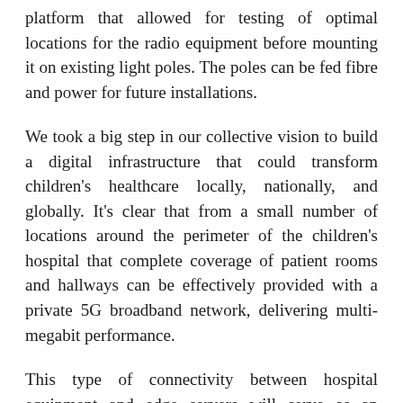platform that allowed for testing of optimal locations for the radio equipment before mounting it on existing light poles. The poles can be fed fibre and power for future installations.
We took a big step in our collective vision to build a digital infrastructure that could transform children's healthcare locally, nationally, and globally. It's clear that from a small number of locations around the perimeter of the children's hospital that complete coverage of patient rooms and hallways can be effectively provided with a private 5G broadband network, delivering multi-megabit performance.
This type of connectivity between hospital equipment and edge servers will serve as an effective